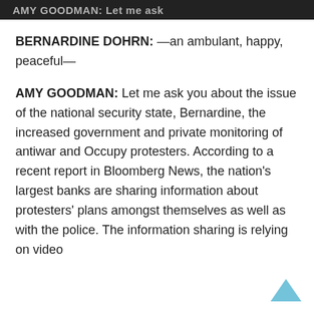AMY GOODMAN: Let me ask
BERNARDINE DOHRN: —an ambulant, happy, peaceful—
AMY GOODMAN: Let me ask you about the issue of the national security state, Bernardine, the increased government and private monitoring of antiwar and Occupy protesters. According to a recent report in Bloomberg News, the nation's largest banks are sharing information about protesters' plans amongst themselves as well as with the police. The information sharing is relying on video